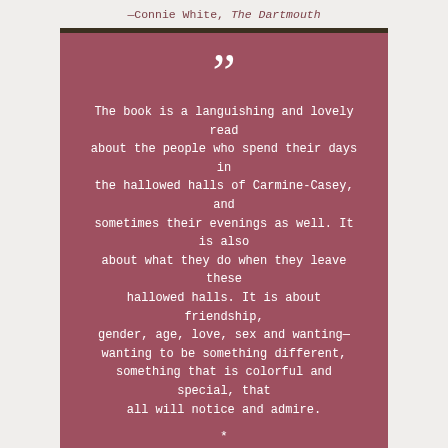—Connie White, The Dartmouth
The book is a languishing and lovely read about the people who spend their days in the hallowed halls of Carmine-Casey, and sometimes their evenings as well. It is also about what they do when they leave these hallowed halls. It is about friendship, gender, age, love, sex and wanting—wanting to be something different, something that is colorful and special, that all will notice and admire.
—Bonnie Brodie, MostlyFiction Book Review
© 2018 by Joshua Gaylord.